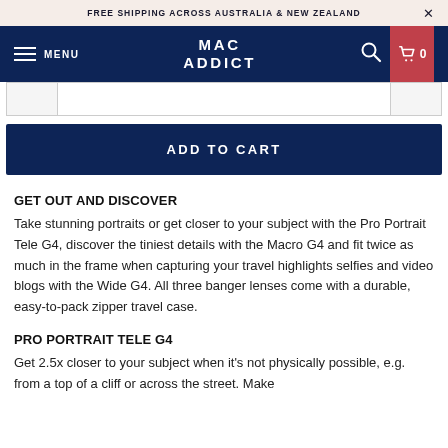FREE SHIPPING ACROSS AUSTRALIA & NEW ZEALAND
MAC ADDICT — MENU, Search, Cart 0
ADD TO CART
GET OUT AND DISCOVER
Take stunning portraits or get closer to your subject with the Pro Portrait Tele G4, discover the tiniest details with the Macro G4 and fit twice as much in the frame when capturing your travel highlights selfies and video blogs with the Wide G4. All three banger lenses come with a durable, easy-to-pack zipper travel case.
PRO PORTRAIT TELE G4
Get 2.5x closer to your subject when it's not physically possible, e.g. from a top of a cliff or across the street. Make